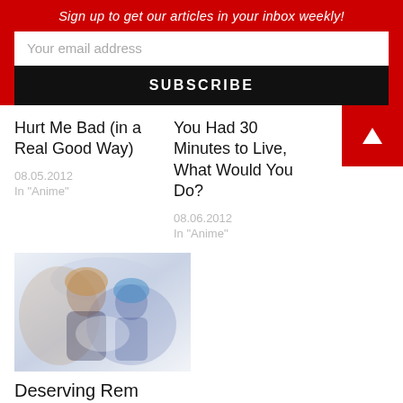Sign up to get our articles in your inbox weekly!
Your email address
SUBSCRIBE
Hurt Me Bad (in a Real Good Way)
08.05.2012
In "Anime"
You Had 30 Minutes to Live, What Would You Do?
08.06.2012
In "Anime"
[Figure (illustration): Anime artwork showing two characters together with light blue and warm tones]
Deserving Rem
04.17.2018
In "Anime"